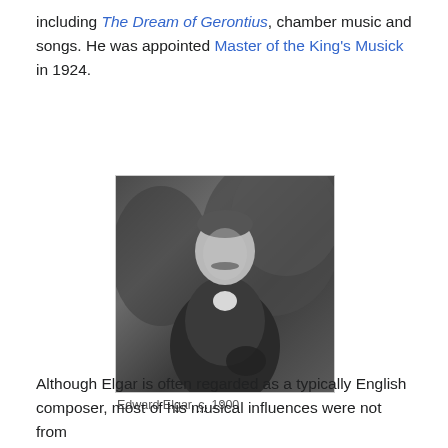including The Dream of Gerontius, chamber music and songs. He was appointed Master of the King's Musick in 1924.
[Figure (photo): Black and white photograph of Edward Elgar, circa 1900, showing a man with a moustache wearing a tweed jacket, seated outdoors with shrubbery in the background.]
Edward Elgar, c. 1900
Although Elgar is often regarded as a typically English composer, most of his musical influences were not from